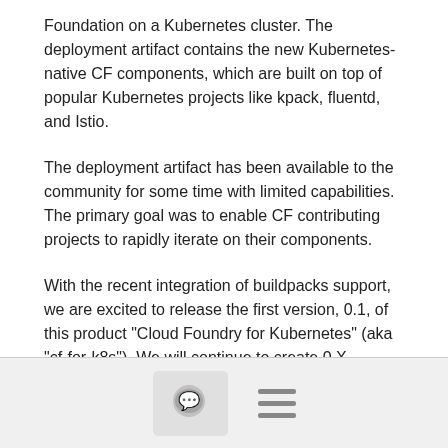Foundation on a Kubernetes cluster. The deployment artifact contains the new Kubernetes-native CF components, which are built on top of popular Kubernetes projects like kpack, fluentd, and Istio.
The deployment artifact has been available to the community for some time with limited capabilities. The primary goal was to enable CF contributing projects to rapidly iterate on their components.
With the recent integration of buildpacks support, we are excited to release the first version, 0.1, of this product "Cloud Foundry for Kubernetes" (aka "cf-for-k8s"). We will continue to create 0.X releases as new capabilities are added and we improve stability of cf-for-k8s. We plan to establish a release cadence.
Highlights
[Figure (other): Bottom navigation bar with a comment/chat bubble icon button and a hamburger menu icon]